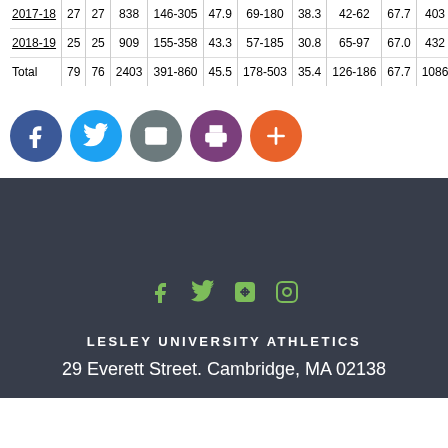| 2017-18 | 27 | 27 | 838 | 146-305 | 47.9 | 69-180 | 38.3 | 42-62 | 67.7 | 403 |
| 2018-19 | 25 | 25 | 909 | 155-358 | 43.3 | 57-185 | 30.8 | 65-97 | 67.0 | 432 |
| Total | 79 | 76 | 2403 | 391-860 | 45.5 | 178-503 | 35.4 | 126-186 | 67.7 | 1086 |
[Figure (other): Social media share buttons: Facebook (blue), Twitter (light blue), Email (grey), Print (purple), Plus/Add (orange)]
[Figure (other): Footer section with dark background containing social media icons (Facebook, Twitter, YouTube, Instagram) in green, university name and address]
LESLEY UNIVERSITY ATHLETICS
29 Everett Street. Cambridge, MA 02138